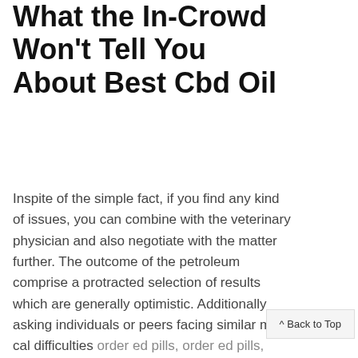What the In-Crowd Won't Tell You About Best Cbd Oil
Inspite of the simple fact, if you find any kind of issues, you can combine with the veterinary physician and also negotiate with the matter further. The outcome of the petroleum comprise a protracted selection of results which are generally optimistic. Additionally asking individuals or peers facing similar medi cal difficulties order ed pills, order ed pills, order ed pills, order ed pills, order ed pills, order ed pills, order ed pills, o ed pills, may possibly be a outstanding